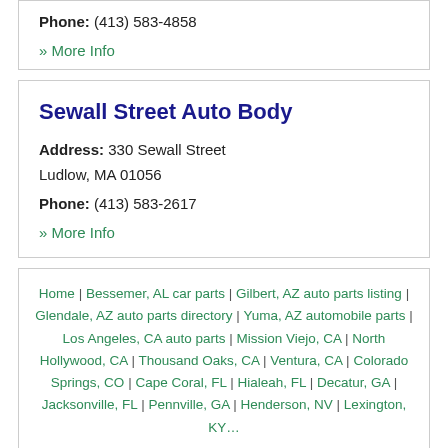Phone: (413) 583-4858
» More Info
Sewall Street Auto Body
Address: 330 Sewall Street Ludlow, MA 01056
Phone: (413) 583-2617
» More Info
Home | Bessemer, AL car parts | Gilbert, AZ auto parts listing | Glendale, AZ auto parts directory | Yuma, AZ automobile parts | Los Angeles, CA auto parts | Mission Viejo, CA | North Hollywood, CA | Thousand Oaks, CA | Ventura, CA | Colorado Springs, CO | Cape Coral, FL | Hialeah, FL | Decatur, GA |